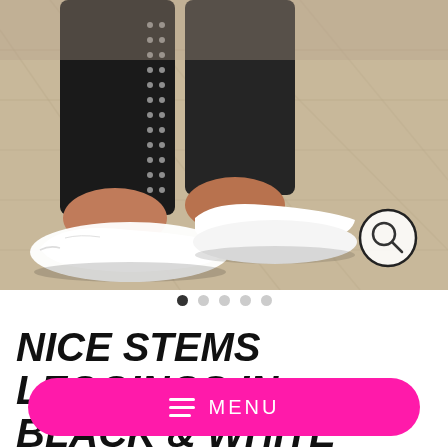[Figure (photo): Close-up photo of a person's legs wearing black leggings with white mesh/dot pattern stripe on the side, and white canvas sneakers, standing on a herringbone brick/stone floor. A circular search icon is visible in the lower-right corner of the image.]
NICE STEMS LEGGINGS IN BLACK & WHITE
MENU